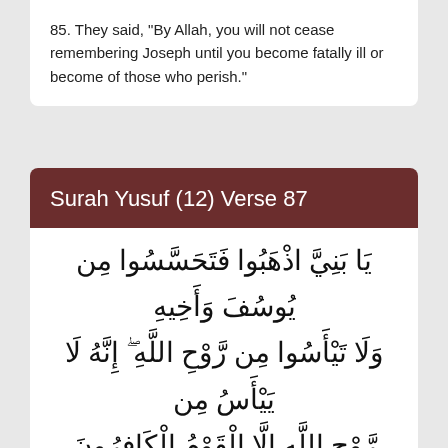85. They said, "By Allah, you will not cease remembering Joseph until you become fatally ill or become of those who perish."
Surah Yusuf (12) Verse 87
[Figure (other): Arabic Quranic text of Surah Yusuf verse 87]
87. O my sons, go and find out about Joseph and his brother and despair not of relief from Allah. Indeed, no one despairs of relief from Allah except the disbelieving people."